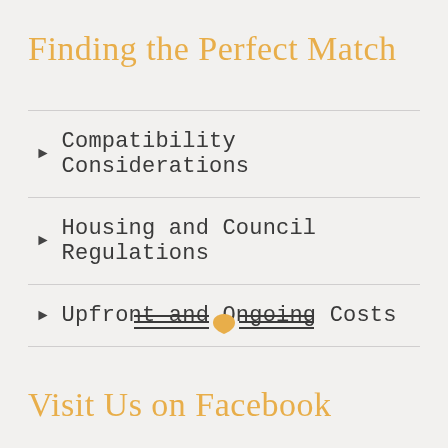Finding the Perfect Match
Compatibility Considerations
Housing and Council Regulations
Upfront and Ongoing Costs
[Figure (illustration): Decorative divider with triple horizontal lines on each side and a golden heart in the center]
Visit Us on Facebook